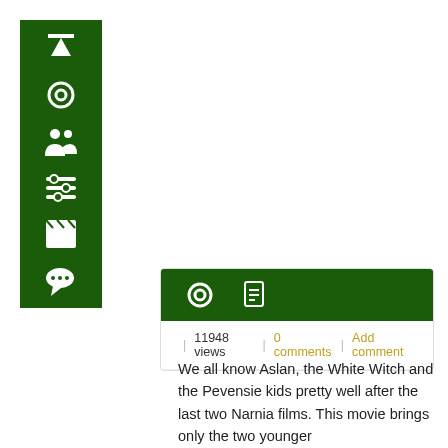[Figure (infographic): Dark green vertical sidebar with white icons: up arrow, circle/spinner, two people silhouette, sliders/equalizer, clapperboard, speech bubble]
[Figure (screenshot): Content card with dark green header containing circle icon and document icon, meta bar showing 11948 views, 0 comments, Add comment links]
We all know Aslan, the White Witch and the Pevensie kids pretty well after the last two Narnia films. This movie brings only the two younger